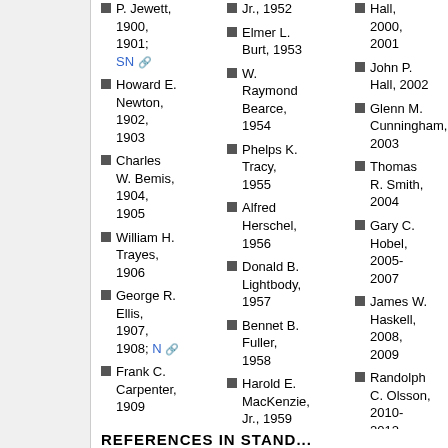P. Jewett, 1900, 1901; SN
Howard E. Newton, 1902, 1903
Charles W. Bemis, 1904, 1905
William H. Trayes, 1906
George R. Ellis, 1907, 1908; N
Frank C. Carpenter, 1909
Jr., 1952
Elmer L. Burt, 1953
W. Raymond Bearce, 1954
Phelps K. Tracy, 1955
Alfred Herschel, 1956
Donald B. Lightbody, 1957
Bennet B. Fuller, 1958
Harold E. MacKenzie, Jr., 1959
Hall, 2000, 2001
John P. Hall, 2002
Glenn M. Cunningham, 2003
Thomas R. Smith, 2004
Gary C. Hobel, 2005-2007
James W. Haskell, 2008, 2009
Randolph C. Olsson, 2010-2012
REFERENCES IN SAND...